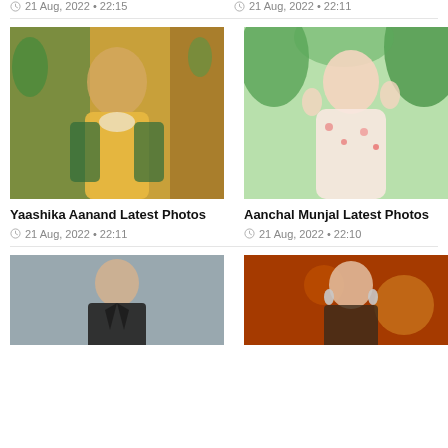21 Aug, 2022 • 22:15
21 Aug, 2022 • 22:11
[Figure (photo): Yaashika Aanand dressed in traditional yellow saree with green embroidered blouse and heavy jewellery, wearing maang tikka.]
[Figure (photo): Aanchal Munjal in a floral white and orange outfit, standing in front of green foliage, posing with hands near hair.]
Yaashika Aanand Latest Photos
Aanchal Munjal Latest Photos
21 Aug, 2022 • 22:11
21 Aug, 2022 • 22:10
[Figure (photo): Huma Qureshi in a dark blazer against a grey background, serious expression.]
[Figure (photo): Woman in warm orange/red toned background with large earrings, looking at camera.]